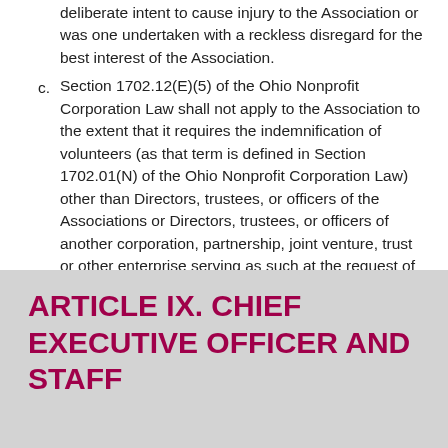deliberate intent to cause injury to the Association or was one undertaken with a reckless disregard for the best interest of the Association.
c. Section 1702.12(E)(5) of the Ohio Nonprofit Corporation Law shall not apply to the Association to the extent that it requires the indemnification of volunteers (as that term is defined in Section 1702.01(N) of the Ohio Nonprofit Corporation Law) other than Directors, trustees, or officers of the Associations or Directors, trustees, or officers of another corporation, partnership, joint venture, trust or other enterprise serving as such at the request of the Association.
ARTICLE IX. CHIEF EXECUTIVE OFFICER AND STAFF